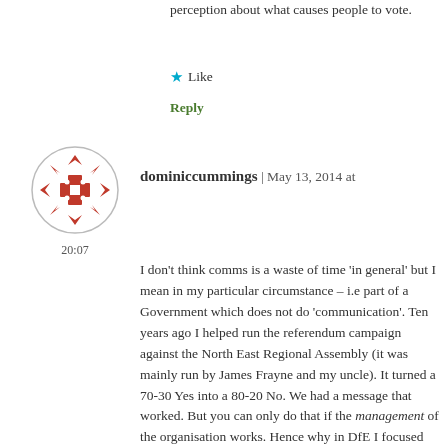perception about what causes people to vote.
★ Like
Reply
[Figure (illustration): Avatar icon: red decorative snowflake/cross pattern inside a circular border]
dominiccummings | May 13, 2014 at 20:07
I don't think comms is a waste of time 'in general' but I mean in my particular circumstance – i.e part of a Government which does not do 'communication'. Ten years ago I helped run the referendum campaign against the North East Regional Assembly (it was mainly run by James Frayne and my uncle). It turned a 70-30 Yes into a 80-20 No. We had a message that worked. But you can only do that if the management of the organisation works. Hence why in DfE I focused on